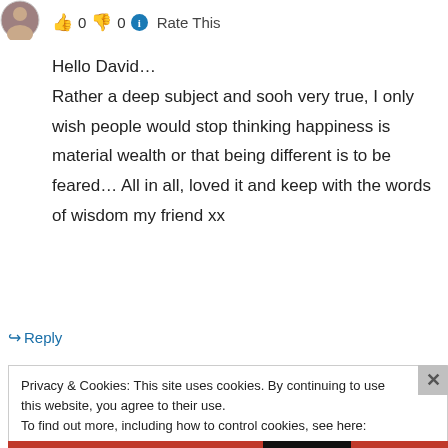[Figure (illustration): Small circular avatar image of a person]
👍 0 👎 0 ℹ Rate This
Hello David…
Rather a deep subject and sooh very true, I only wish people would stop thinking happiness is material wealth or that being different is to be feared… All in all, loved it and keep with the words of wisdom my friend xx
↪ Reply
Privacy & Cookies: This site uses cookies. By continuing to use this website, you agree to their use.
To find out more, including how to control cookies, see here: Cookie Policy
Close and accept